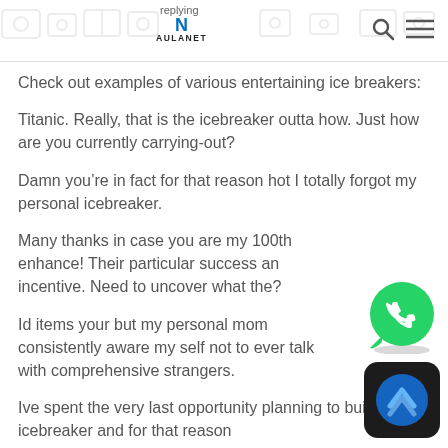replying — AULANET
Check out examples of various entertaining ice breakers:
Titanic. Really, that is the icebreaker outta how. Just how are you currently carrying-out?
Damn you’re in fact for that reason hot I totally forgot my personal icebreaker.
Many thanks in case you are my 100th enhance! Their particular success an incentive. Need to uncover what the?
Id items your but my personal mom consistently aware my self not to ever talk with comprehensive strangers.
Ive spent the very last opportunity planning to build an icebreaker and for that reason